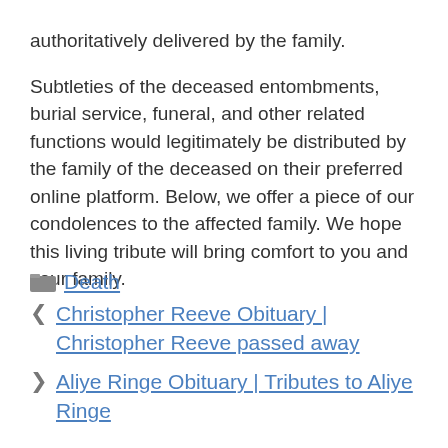authoritatively delivered by the family.
Subtleties of the deceased entombments, burial service, funeral, and other related functions would legitimately be distributed by the family of the deceased on their preferred online platform. Below, we offer a piece of our condolences to the affected family. We hope this living tribute will bring comfort to you and your family.
Death
Christopher Reeve Obituary | Christopher Reeve passed away
Aliye Ringe Obituary | Tributes to Aliye Ringe